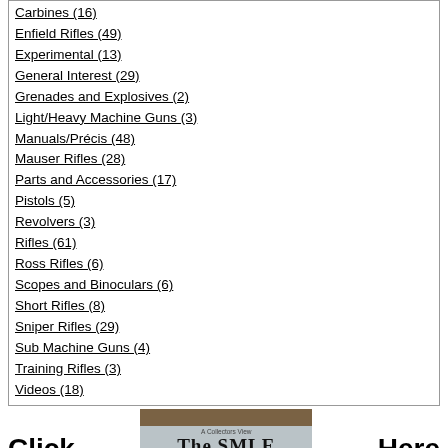Carbines (16)
Enfield Rifles (49)
Experimental (13)
General Interest (29)
Grenades and Explosives (2)
Light/Heavy Machine Guns (3)
Manuals/Précis (48)
Mauser Rifles (28)
Parts and Accessories (17)
Pistols (5)
Revolvers (3)
Rifles (61)
Ross Rifles (6)
Scopes and Binoculars (6)
Short Rifles (8)
Sniper Rifles (29)
Sub Machine Guns (4)
Training Rifles (3)
Videos (18)
[Figure (screenshot): Banner ad for 'The SMLE - Rifle, Short, Magazine, Lee-Enfield 1903-1989' book with Click Here text on either side]
------ Medium dropdown selector
Username Changing provided by Username Change (Free) - vBulletin Mods & Addons Copyright © 2022 DragonByte Technologies Ltd. Thread / Post Bookmarks provided by Thread / Post Bookmarking (Free) - vBulletin Mods & Addons Copyright © 2022 DragonByte Technologies Ltd.